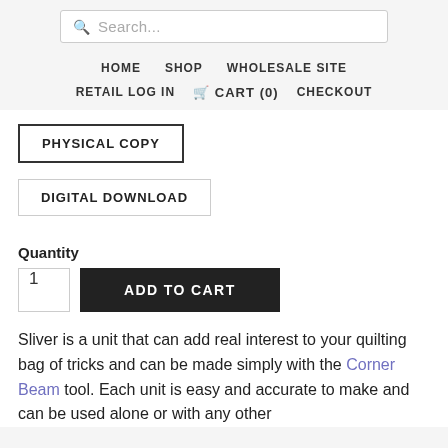Search... HOME  SHOP  WHOLESALE SITE  RETAIL LOG IN  CART (0)  CHECKOUT
PHYSICAL COPY
DIGITAL DOWNLOAD
Quantity
1  ADD TO CART
Sliver is a unit that can add real interest to your quilting bag of tricks and can be made simply with the Corner Beam tool. Each unit is easy and accurate to make and can be used alone or with any other